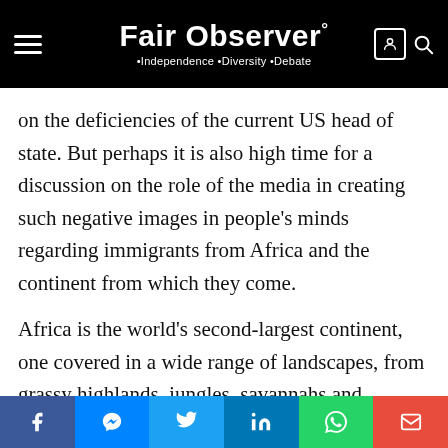Fair Observer° • Independence • Diversity • Debate
on the deficiencies of the current US head of state. But perhaps it is also high time for a discussion on the role of the media in creating such negative images in people's minds regarding immigrants from Africa and the continent from which they come.
Africa is the world's second-largest continent, one covered in a wide range of landscapes, from grassy highlands, jungles, savannahs and deserts, to vast lakes and rivers, snow-topped mountains, lush valleys and canyons. It is also the second-most populous continent, being home to more than 1.2 billion people
Social share bar: Facebook, Messenger, Twitter, LinkedIn, WhatsApp, Email